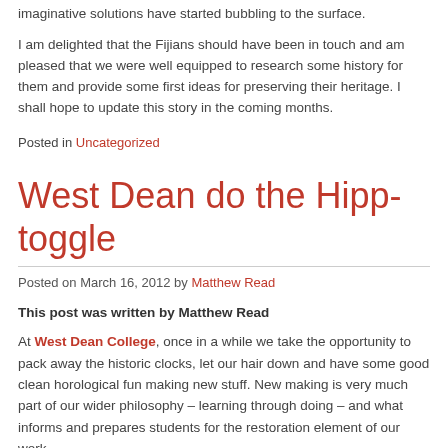imaginative solutions have started bubbling to the surface.
I am delighted that the Fijians should have been in touch and am pleased that we were well equipped to research some history for them and provide some first ideas for preserving their heritage. I shall hope to update this story in the coming months.
Posted in Uncategorized
West Dean do the Hipp-toggle
Posted on March 16, 2012 by Matthew Read
This post was written by Matthew Read
At West Dean College, once in a while we take the opportunity to pack away the historic clocks, let our hair down and have some good clean horological fun making new stuff. New making is very much part of our wider philosophy – learning through doing – and what informs and prepares students for the restoration element of our work.
Following a chance discovery of a copy of Practical Mechanics 1936, complete with blueprints and instructions of how to build a Hipp-toggle pendulum clock,